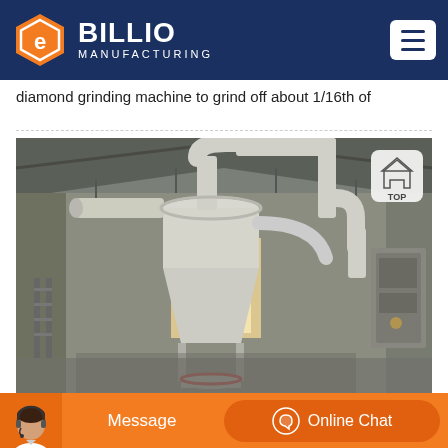BILLIO MANUFACTURING
diamond grinding machine to grind off about 1/16th of
[Figure (photo): Industrial grinding/milling machine inside a warehouse-style building. A large white cyclone separator/dust collector system with connected pipes is prominent in the center. The building has a corrugated metal roof. A smaller equipment unit is visible to the right.]
[Figure (other): Bottom navigation bar with orange background showing a customer service agent photo, a Message button, and an Online Chat button with headset icon.]